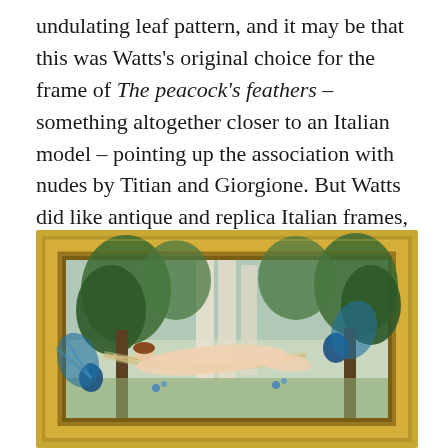undulating leaf pattern, and it may be that this was Watts's original choice for the frame of The peacock's feathers – something altogether closer to an Italian model – pointing up the association with nudes by Titian and Giorgione. But Watts did like antique and replica Italian frames, too, and may have painted this work to fit one which he had previously bought – one which later taste mistook for a collector's intervention, and disposed of. The status of historic frames is a tangled and thorny problem.
[Figure (photo): A painting in an ornate gold frame showing a reclining nude figure in a garden setting with trees, columns, and peacocks with blue plumage visible.]